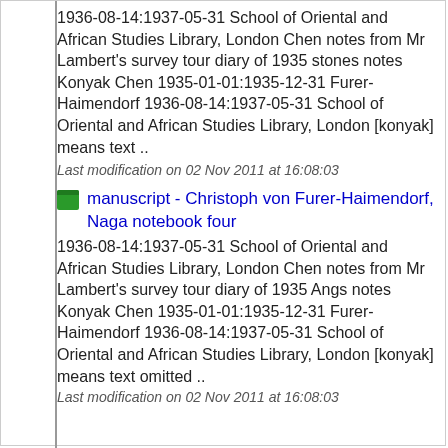1936-08-14:1937-05-31 School of Oriental and African Studies Library, London Chen notes from Mr Lambert's survey tour diary of 1935 stones notes Konyak Chen 1935-01-01:1935-12-31 Furer-Haimendorf 1936-08-14:1937-05-31 School of Oriental and African Studies Library, London [konyak] means text ..
Last modification on 02 Nov 2011 at 16:08:03
manuscript - Christoph von Furer-Haimendorf, Naga notebook four
1936-08-14:1937-05-31 School of Oriental and African Studies Library, London Chen notes from Mr Lambert's survey tour diary of 1935 Angs notes Konyak Chen 1935-01-01:1935-12-31 Furer-Haimendorf 1936-08-14:1937-05-31 School of Oriental and African Studies Library, London [konyak] means text omitted ..
Last modification on 02 Nov 2011 at 16:08:03